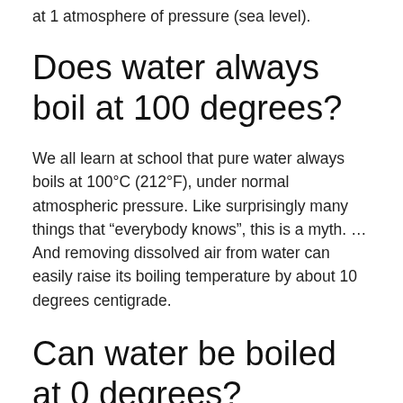at 1 atmosphere of pressure (sea level).
Does water always boil at 100 degrees?
We all learn at school that pure water always boils at 100°C (212°F), under normal atmospheric pressure. Like surprisingly many things that “everybody knows”, this is a myth. … And removing dissolved air from water can easily raise its boiling temperature by about 10 degrees centigrade.
Can water be boiled at 0 degrees?
Answer: you can boil water at 0 degrees as it depends on temperature as well as pressure